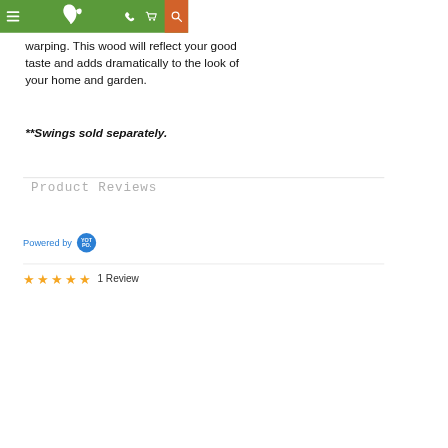Navigation bar with menu, leaf logo, phone, cart, and search icons
warping. This wood will reflect your good taste and adds dramatically to the look of your home and garden.
**Swings sold separately.
Product Reviews
Powered by YOTPO
1 Review